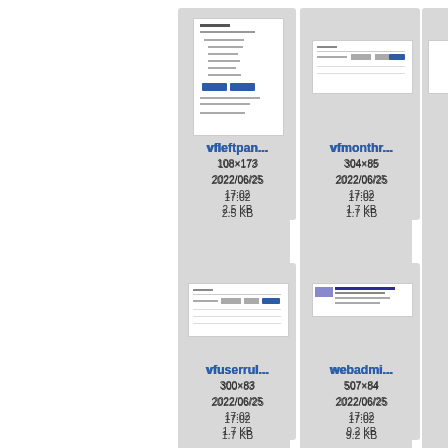[Figure (screenshot): Thumbnail of vfleftpan UI panel, 108×173 px screenshot]
vfleftpan...
108×173
2022/06/25
17:02
2.5 KB
[Figure (screenshot): Thumbnail of vfmonthr UI panel, 304×85 px screenshot]
vfmonthr...
304×85
2022/06/25
17:02
1.7 KB
[Figure (screenshot): Partially visible third thumbnail, vf...]
[Figure (screenshot): Thumbnail of vfuserrul UI panel, 300×83 px screenshot]
vfuserrul...
300×83
2022/06/25
17:02
1.7 KB
[Figure (screenshot): Thumbnail of webadmi panel, 507×84 px screenshot]
webadmi...
507×84
2022/06/25
17:02
9.2 KB